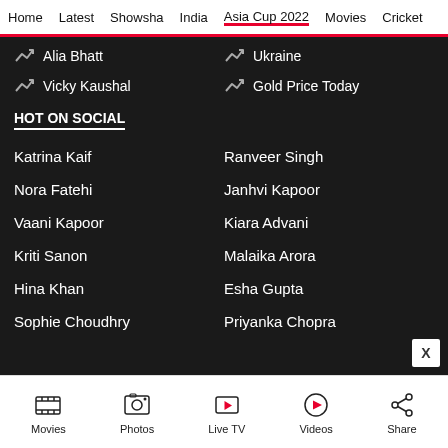Home | Latest | Showsha | India | Asia Cup 2022 | Movies | Cricket
Alia Bhatt
Ukraine
Vicky Kaushal
Gold Price Today
HOT ON SOCIAL
Katrina Kaif
Ranveer Singh
Nora Fatehi
Janhvi Kapoor
Vaani Kapoor
Kiara Advani
Kriti Sanon
Malaika Arora
Hina Khan
Esha Gupta
Sophie Choudhry
Priyanka Chopra
Movies | Photos | Live TV | Videos | Share